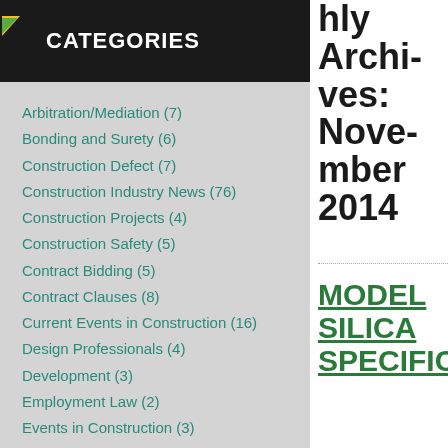CATEGORIES
Arbitration/Mediation (7)
Bonding and Surety (6)
Construction Defect (7)
Construction Industry News (76)
Construction Projects (4)
Construction Safety (5)
Contract Bidding (5)
Contract Clauses (8)
Current Events in Construction (16)
Design Professionals (4)
Development (3)
Employment Law (2)
Events in Construction (3)
Firm News (1)
General (55)
Green Construction (6)
Immigration (1)
Monthly Archives: November 2014
MODEL SILICA SPECIFICATIONS